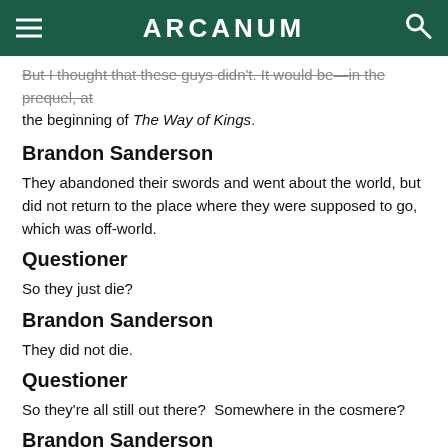ARCANUM
But I thought that these guys didn't. It would be—in the prequel, at the beginning of The Way of Kings.
Brandon Sanderson
They abandoned their swords and went about the world, but did not return to the place where they were supposed to go, which was off-world.
Questioner
So they just die?
Brandon Sanderson
They did not die.
Questioner
So they're all still out there?  Somewhere in the cosmere?
Brandon Sanderson
It can be assumed that they are all still out there unless some of